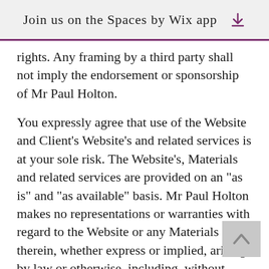Join us on the Spaces by Wix app
rights. Any framing by a third party shall not imply the endorsement or sponsorship of Mr Paul Holton.
You expressly agree that use of the Website and Client's Website's and related services is at your sole risk. The Website's, Materials and related services are provided on an "as is" and "as available" basis. Mr Paul Holton makes no representations or warranties with regard to the Website or any Materials therein, whether express or implied, arising by law or otherwise, including, without limitation, any implied warranty of merchantability, fitness for a particular purpose or non-infringement or any implied warranty